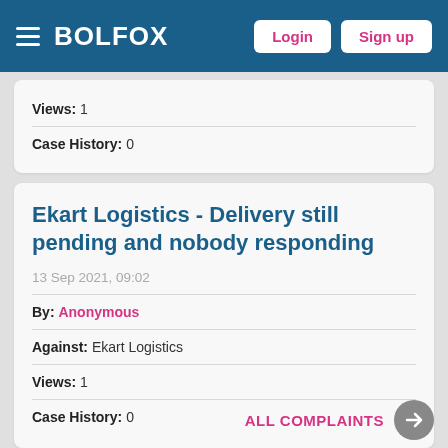BOLFOX — Login | Sign up
Views: 1
Case History: 0
Ekart Logistics - Delivery still pending and nobody responding
13 Sep 2021, 09:02
By: Anonymous
Against: Ekart Logistics
Views: 1
Case History: 0
ALL COMPLAINTS